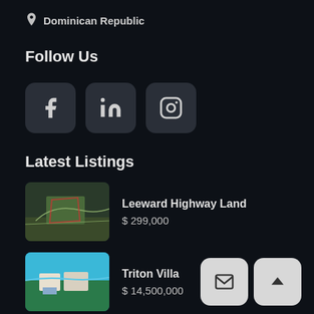Dominican Republic
Follow Us
[Figure (other): Social media icons: Facebook, LinkedIn, Instagram]
Latest Listings
[Figure (photo): Aerial view of Leeward Highway Land property]
Leeward Highway Land
$ 299,000
[Figure (photo): Aerial view of Triton Villa by turquoise water]
Triton Villa
$ 14,500,000
[Figure (photo): Partial view of Arrecife #9 property]
Arrecife #9